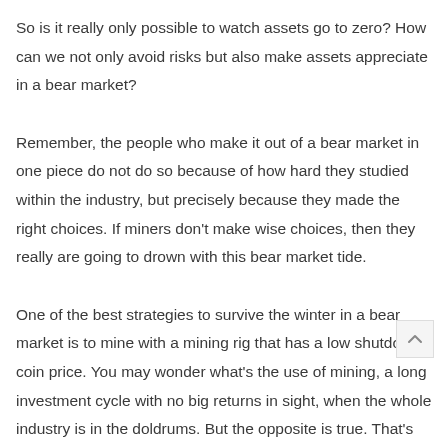So is it really only possible to watch assets go to zero? How can we not only avoid risks but also make assets appreciate in a bear market?
Remember, the people who make it out of a bear market in one piece do not do so because of how hard they studied within the industry, but precisely because they made the right choices. If miners don't make wise choices, then they really are going to drown with this bear market tide.
One of the best strategies to survive the winter in a bear market is to mine with a mining rig that has a low shutdown coin price. You may wonder what's the use of mining, a long investment cycle with no big returns in sight, when the whole industry is in the doldrums. But the opposite is true. That's because you don't